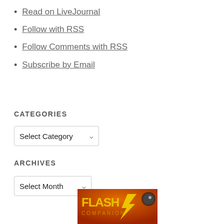Read on LiveJournal
Follow with RSS
Follow Comments with RSS
Subscribe by Email
CATEGORIES
[Figure (screenshot): Dropdown select box labeled 'Select Category' with a chevron arrow]
ARCHIVES
[Figure (screenshot): Dropdown select box labeled 'Select Month' with a chevron arrow]
[Figure (illustration): Partial image of the Flash Companion book/comic cover with red and orange colors]